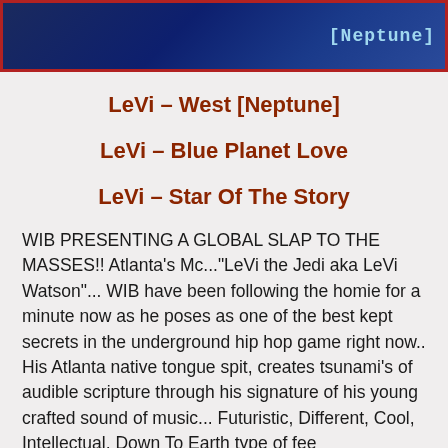[Figure (illustration): Dark blue starfield/space background banner with red border, showing '[Neptune]' text in light blue monospace font at the right side]
LeVi – West [Neptune]
LeVi – Blue Planet Love
LeVi – Star Of The Story
WIB PRESENTING A GLOBAL SLAP TO THE MASSES!! Atlanta's Mc..."LeVi the Jedi aka LeVi Watson"... WIB have been following the homie for a minute now as he poses as one of the best kept secrets in the underground hip hop game right now.. His Atlanta native tongue spit, creates tsunami's of audible scripture through his signature of his young crafted sound of music... Futuristic, Different, Cool, Intellectual, Down To Earth type of feel